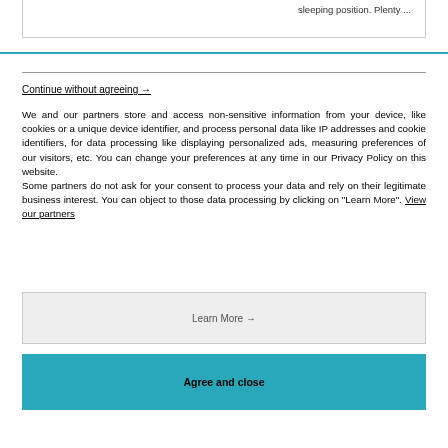sleeping position. Plenty ...
Continue without agreeing →
We and our partners store and access non-sensitive information from your device, like cookies or a unique device identifier, and process personal data like IP addresses and cookie identifiers, for data processing like displaying personalized ads, measuring preferences of our visitors, etc. You can change your preferences at any time in our Privacy Policy on this website.
Some partners do not ask for your consent to process your data and rely on their legitimate business interest. You can object to those data processing by clicking on "Learn More". View our partners
Learn More →
Agree and close